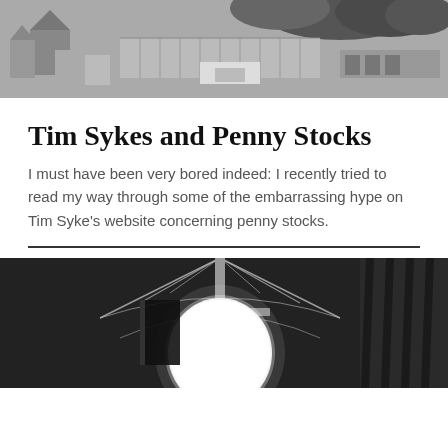[Figure (photo): Black and white aerial/street photo showing rooftops, buildings, and trees in an urban setting]
Tim Sykes and Penny Stocks
I must have been very bored indeed: I recently tried to read my way through some of the embarrassing hype on Tim Syke's website concerning penny stocks.
[Figure (photo): Black and white photo of a decorative light fixture or lamp with an orb/globe shape, with bokeh lighting effects in the background]